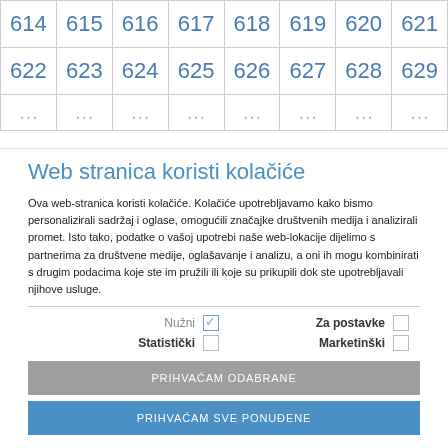| 614 | 615 | 616 | 617 | 618 | 619 | 620 | 621 |
| 622 | 623 | 624 | 625 | 626 | 627 | 628 | 629 |
| … | … | … | … | … | … | … | … |
Web stranica koristi kolačiće
Ova web-stranica koristi kolačiće. Kolačiće upotrebljavamo kako bismo personalizirali sadržaj i oglase, omogućili značajke društvenih medija i analizirali promet. Isto tako, podatke o vašoj upotrebi naše web-lokacije dijelimo s partnerima za društvene medije, oglašavanje i analizu, a oni ih mogu kombinirati s drugim podacima koje ste im pružili ili koje su prikupili dok ste upotrebljavali njihove usluge.
Nužni [checked] Za postavke [ ]  Statistički [ ]  Marketinški [ ]
PRIHVAĆAM ODABRANE
PRIHVAĆAM SVE PONUĐENE